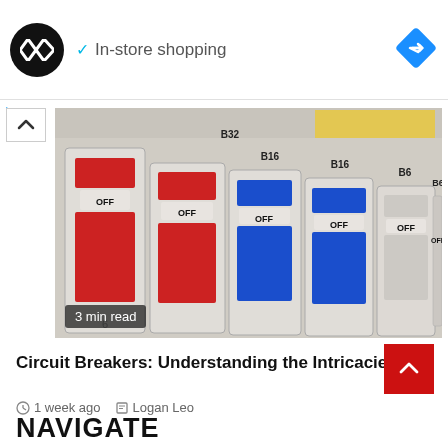[Figure (screenshot): Advertisement banner with circular logo, checkmark and 'In-store shopping' text, and blue navigation diamond icon on the right]
[Figure (photo): Close-up photo of circuit breakers in electrical panel, all switched to OFF position, with labels B32, B16, B6]
3 min read
Circuit Breakers: Understanding the Intricacies
1 week ago   Logan Leo
NAVIGATE